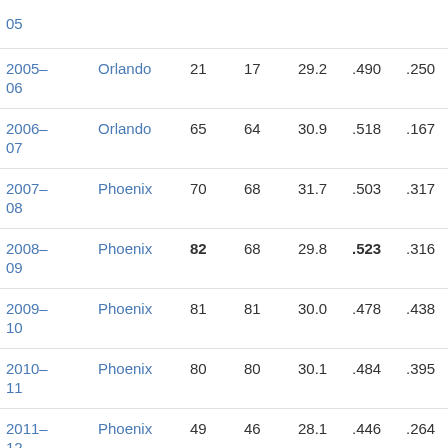| Season | Team | G | GS | MPG | FG% | 3P% | FT% |
| --- | --- | --- | --- | --- | --- | --- | --- |
| 05 |  |  |  |  |  |  |  |
| 2005–06 | Orlando | 21 | 17 | 29.2 | .490 | .250 | .7… |
| 2006–07 | Orlando | 65 | 64 | 30.9 | .518 | .167 | .7… |
| 2007–08 | Phoenix | 70 | 68 | 31.7 | .503 | .317 | .8… |
| 2008–09 | Phoenix | 82 | 68 | 29.8 | .523 | .316 | .8… |
| 2009–10 | Phoenix | 81 | 81 | 30.0 | .478 | .438 | .8… |
| 2010–11 | Phoenix | 80 | 80 | 30.1 | .484 | .395 | .8… |
| 2011–12 | Phoenix | 49 | 46 | 28.1 | .446 | .264 | .7… |